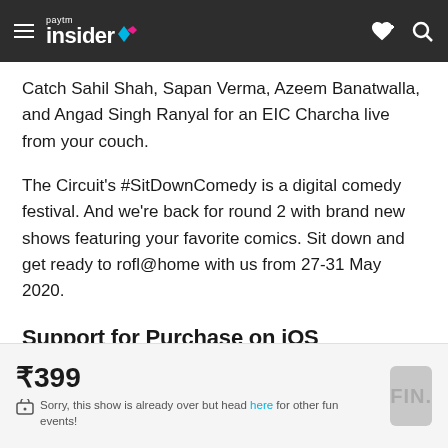Paytm Insider
Catch Sahil Shah, Sapan Verma, Azeem Banatwalla, and Angad Singh Ranyal for an EIC Charcha live from your couch.
The Circuit's #SitDownComedy is a digital comedy festival. And we're back for round 2 with brand new shows featuring your favorite comics. Sit down and get ready to rofl@home with us from 27-31 May 2020.
Support for Purchase on iOS
If you are trying to buy this ticket on an IOS device, copy the link and open it on your Chrome / Safari mobile
₹399
Sorry, this show is already over but head here for other fun events!
FIN.